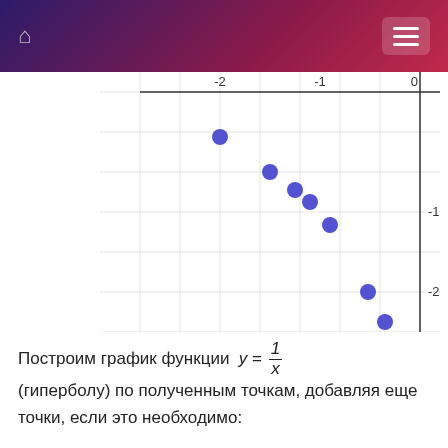[Figure (scatter-plot): Graph of y = 1/x (negative x values)]
Построим график функции y = 1/x (гиперболу) по полученным точкам, добавляя еще точки, если это необходимо: